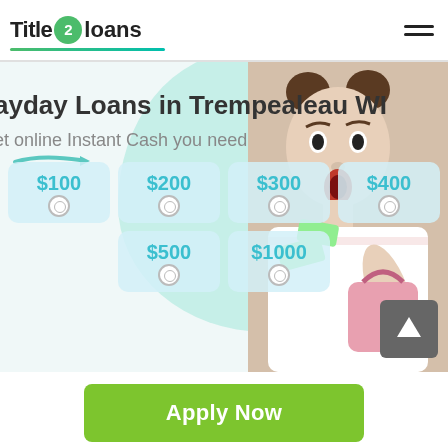Title 2 loans
Payday Loans in Trempealeau WI
Get online Instant Cash you need
[Figure (screenshot): Loan amount selection interface with amounts: $100, $200, $300, $400, $500, $1000 shown as clickable boxes with radio buttons]
[Figure (photo): Woman with surprised expression holding cash/bag]
Apply Now
Applying does NOT affect your credit score! No credit check to apply.